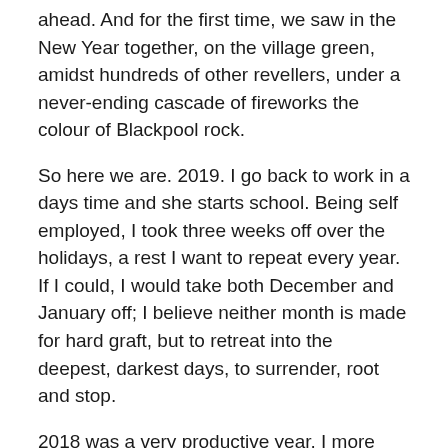ahead. And for the first time, we saw in the New Year together, on the village green, amidst hundreds of other revellers, under a never-ending cascade of fireworks the colour of Blackpool rock.
So here we are. 2019. I go back to work in a days time and she starts school. Being self employed, I took three weeks off over the holidays, a rest I want to repeat every year. If I could, I would take both December and January off; I believe neither month is made for hard graft, but to retreat into the deepest, darkest days, to surrender, root and stop.
2018 was a very productive year. I more than achieved my professional goals (be careful what you wish for) which was a wonderful and very necessary task but it came at a price, the cost of my writing. And therefore 2019 is a